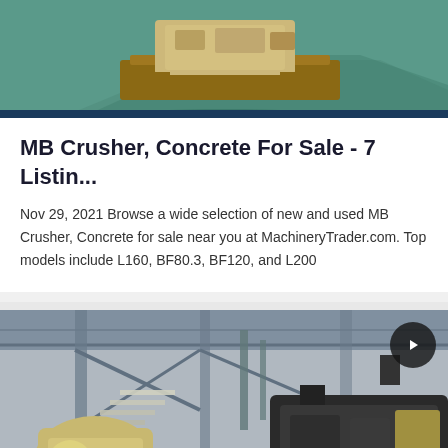[Figure (photo): Top portion of a crusher machine on a green factory floor, partially visible at top of card]
MB Crusher, Concrete For Sale - 7 Listin...
Nov 29, 2021 Browse a wide selection of new and used MB Crusher, Concrete for sale near you at MachineryTrader.com. Top models include L160, BF80.3, BF120, and L200
[Figure (photo): Industrial factory interior showing large concrete crusher machinery, yellow and black, with metal framework, stairs, and conveyor systems inside a steel warehouse building]